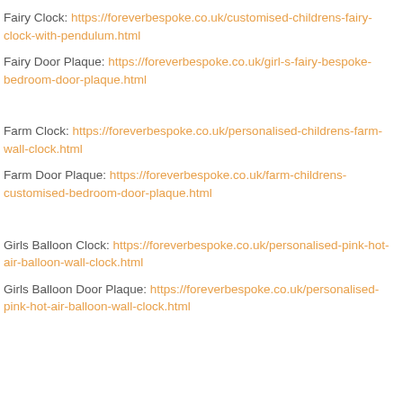Fairy Clock: https://foreverbespoke.co.uk/customised-childrens-fairy-clock-with-pendulum.html
Fairy Door Plaque: https://foreverbespoke.co.uk/girl-s-fairy-bespoke-bedroom-door-plaque.html
Farm Clock: https://foreverbespoke.co.uk/personalised-childrens-farm-wall-clock.html
Farm Door Plaque: https://foreverbespoke.co.uk/farm-childrens-customised-bedroom-door-plaque.html
Girls Balloon Clock: https://foreverbespoke.co.uk/personalised-pink-hot-air-balloon-wall-clock.html
Girls Balloon Door Plaque: https://foreverbespoke.co.uk/personalised-pink-hot-air-balloon-wall-clock.html